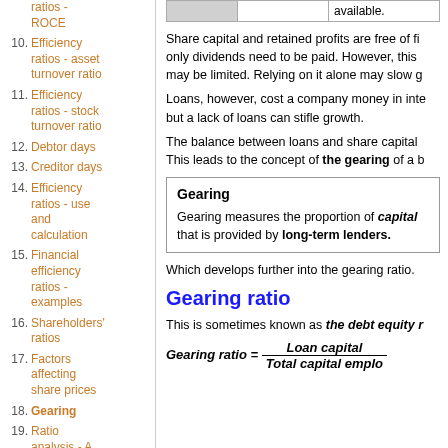ratios - ROCE
10. Efficiency ratios - asset turnover ratio
11. Efficiency ratios - stock turnover ratio
12. Debtor days
13. Creditor days
14. Efficiency ratios - use and calculation
15. Financial efficiency ratios - examples
16. Shareholders' ratios
17. Factors affecting share prices
18. Gearing
19. Ratio analysis - A summary
|  |  | available. |
Share capital and retained profits are free of fi... only dividends need to be paid. However, this may be limited. Relying on it alone may slow g...
Loans, however, cost a company money in inte... but a lack of loans can stifle growth.
The balance between loans and share capital... This leads to the concept of the gearing of a b...
Gearing
Gearing measures the proportion of capital... that is provided by long-term lenders.
Which develops further into the gearing ratio.
Gearing ratio
This is sometimes known as the debt equity r...